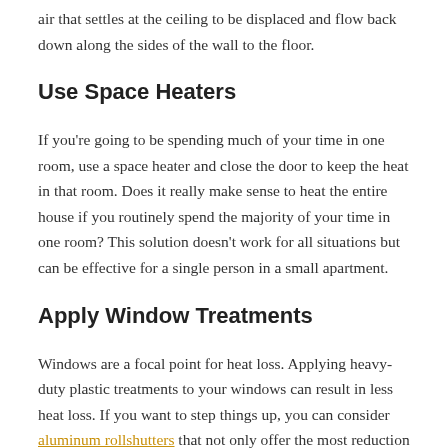air that settles at the ceiling to be displaced and flow back down along the sides of the wall to the floor.
Use Space Heaters
If you're going to be spending much of your time in one room, use a space heater and close the door to keep the heat in that room. Does it really make sense to heat the entire house if you routinely spend the majority of your time in one room? This solution doesn't work for all situations but can be effective for a single person in a small apartment.
Apply Window Treatments
Windows are a focal point for heat loss. Applying heavy-duty plastic treatments to your windows can result in less heat loss. If you want to step things up, you can consider aluminum rollshutters that not only offer the most reduction in heat loss but will also keep your property